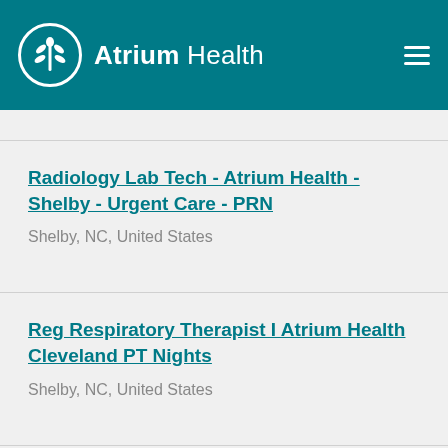Atrium Health
Radiology Lab Tech - Atrium Health - Shelby - Urgent Care - PRN
Shelby, NC, United States
Reg Respiratory Therapist I Atrium Health Cleveland PT Nights
Shelby, NC, United States